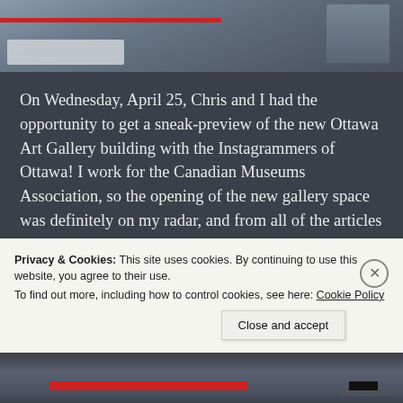[Figure (photo): Top portion of a photo showing an interior space, possibly an art gallery or exhibition area, with a red horizontal line and light-colored surfaces visible.]
On Wednesday, April 25, Chris and I had the opportunity to get a sneak-preview of the new Ottawa Art Gallery building with the Instagrammers of Ottawa! I work for the Canadian Museums Association, so the opening of the new gallery space was definitely on my radar, and from all of the articles anticipating it, I was pretty excited to check it out.
Continue reading
Privacy & Cookies: This site uses cookies. By continuing to use this website, you agree to their use.
To find out more, including how to control cookies, see here: Cookie Policy
Close and accept
[Figure (photo): Bottom portion of a photo showing an interior space with a red horizontal bar and dark elements.]